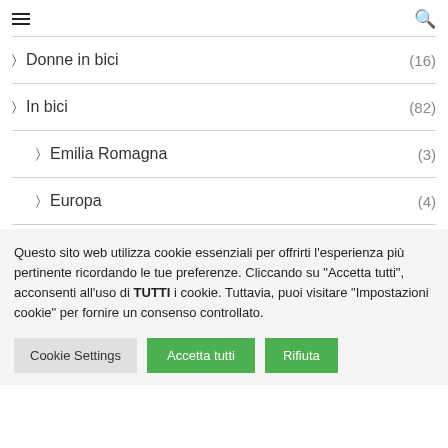> Donne in bici (16)
> In bici (82)
> Emilia Romagna (3)
> Europa (4)
Questo sito web utilizza cookie essenziali per offrirti l'esperienza più pertinente ricordando le tue preferenze. Cliccando su "Accetta tutti", acconsenti all'uso di TUTTI i cookie. Tuttavia, puoi visitare "Impostazioni cookie" per fornire un consenso controllato.
Cookie Settings | Accetta tutti | Rifiuta